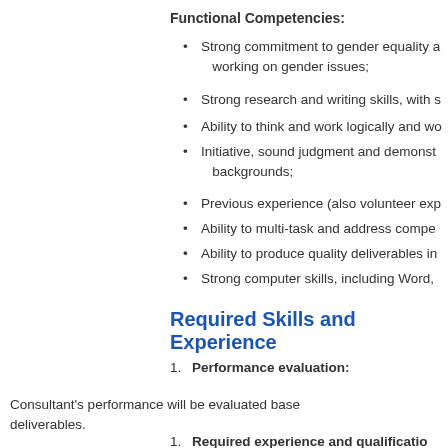Functional Competencies:
Strong commitment to gender equality a... working on gender issues;
Strong research and writing skills, with s...
Ability to think and work logically and wo...
Initiative, sound judgment and demonstr... backgrounds;
Previous experience (also volunteer exp...
Ability to multi-task and address compe...
Ability to produce quality deliverables in...
Strong computer skills, including Word, ...
Required Skills and Experience
Performance evaluation:
Consultant's performance will be evaluated base... deliverables.
Required experience and qualificatio...